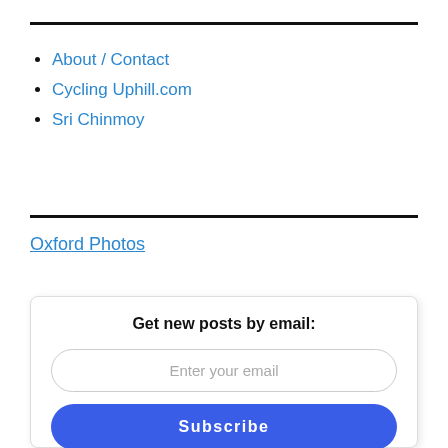About / Contact
Cycling Uphill.com
Sri Chinmoy
Oxford Photos
Get new posts by email:
Enter your email
Subscribe